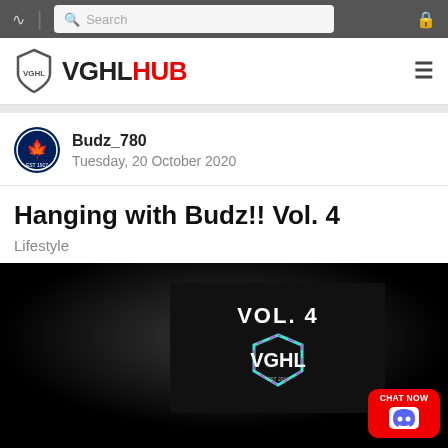VGHLHUB — navigation bar with search
[Figure (logo): VGHL VGHLHUB logo with shield icon]
Budz_780
Tuesday, 20 October 2020
Hanging with Budz!! Vol. 4
Lifestyle
[Figure (photo): Dark/black background promotional image showing VOL. 4 text and VGHL shield logo in teal/pink gradient, with CHAT NOW Discord badge in bottom right corner]